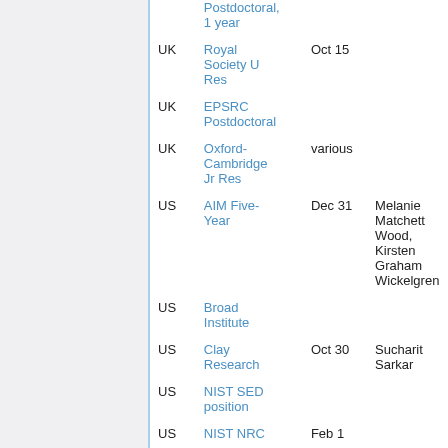| Country | Fellowship/Position | Deadline | Contact |
| --- | --- | --- | --- |
| UK | Royal Society U Res | Oct 15 |  |
| UK | EPSRC Postdoctoral |  |  |
| UK | Oxford-Cambridge Jr Res | various |  |
| US | AIM Five-Year | Dec 31 | Melanie Matchett Wood, Kirsten Graham Wickelgren |
| US | Broad Institute |  |  |
| US | Clay Research | Oct 30 | Sucharit Sarkar |
| US | NIST SED position |  |  |
| US | NIST NRC | Feb 1 |  |